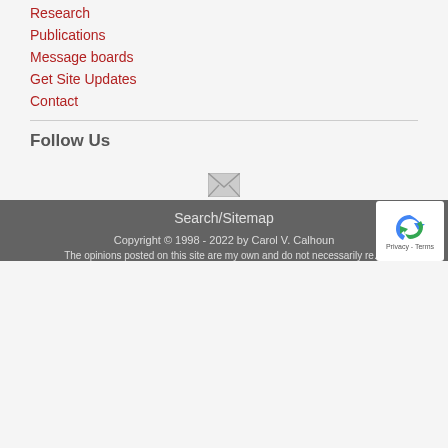Research
Publications
Message boards
Get Site Updates
Contact
Follow Us
[Figure (illustration): Email icon (envelope graphic, gray)]
[Figure (illustration): RSS feed icon (orange with white signal waves)]
Search/Sitemap
Copyright © 1998 - 2022 by Carol V. Calhoun
The opinions posted on this site are my own and do not necessarily re...
[Figure (illustration): reCAPTCHA badge with logo and Privacy - Terms text]